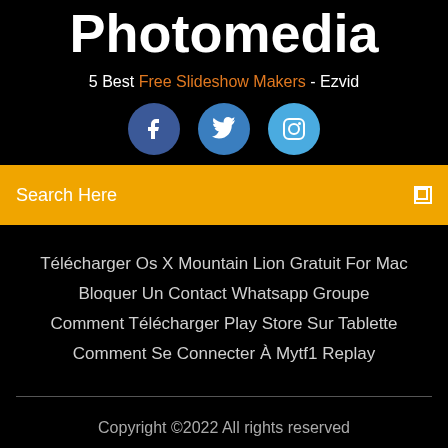Photomedia
5 Best Free Slideshow Makers - Ezvid
[Figure (illustration): Three social media icons: Facebook (dark blue circle with f), Twitter (medium blue circle with bird), Instagram (light blue circle with camera outline)]
Search Here
Télécharger Os X Mountain Lion Gratuit For Mac
Bloquer Un Contact Whatsapp Groupe
Comment Télécharger Play Store Sur Tablette
Comment Se Connecter À Mytf1 Replay
Copyright ©2022 All rights reserved